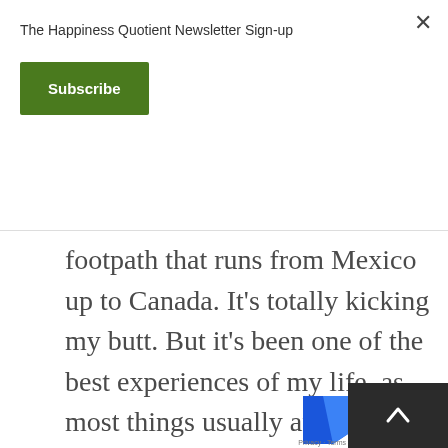The Happiness Quotient Newsletter Sign-up
Subscribe
footpath that runs from Mexico up to Canada. It's totally kicking my butt. But it's been one of the best experiences of my life, as most things usually are. And then after that, I've got plans to try to hop over to the east coast immediately and then rip a southbound trip of the Appalachian Trail. So it's been a dream of mine for honestly as long